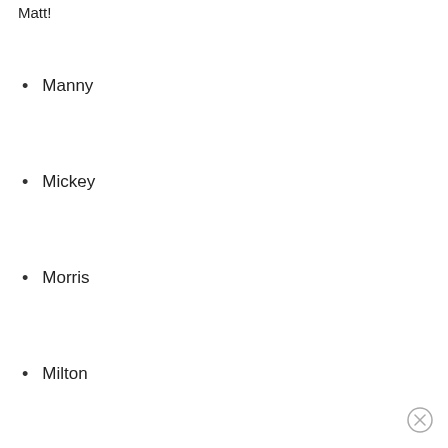Matt!
Manny
Mickey
Morris
Milton
Matt
Max